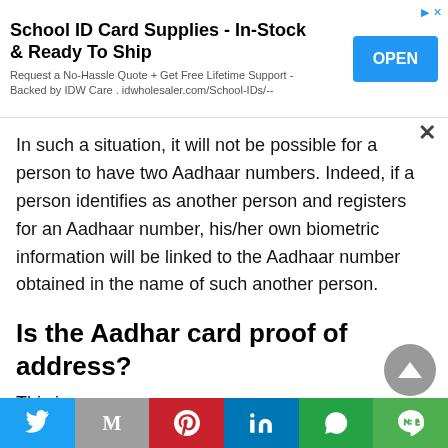[Figure (screenshot): Advertisement banner for School ID Card Supplies with OPEN button]
In such a situation, it will not be possible for a person to have two Aadhaar numbers. Indeed, if a person identifies as another person and registers for an Aadhaar number, his/her own biometric information will be linked to the Aadhaar number obtained in the name of such another person.
Is the Aadhar card proof of address?
This is...
[Figure (screenshot): Social media sharing bar with Twitter, Gmail, Pinterest, LinkedIn, WhatsApp, LINE buttons]